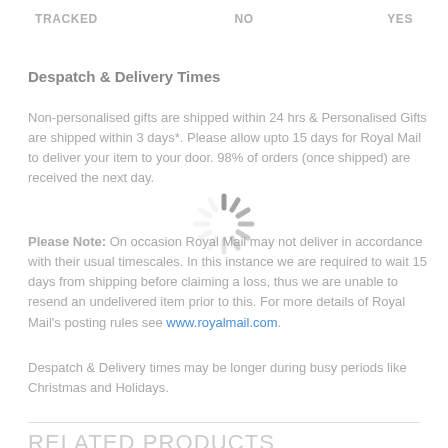TRACKED    NO    YES
Despatch & Delivery Times
Non-personalised gifts are shipped within 24 hrs & Personalised Gifts are shipped within 3 days*. Please allow upto 15 days for Royal Mail to deliver your item to your door. 98% of orders (once shipped) are received the next day.
Please Note: On occasion Royal Mail may not deliver in accordance with their usual timescales. In this instance we are required to wait 15 days from shipping before claiming a loss, thus we are unable to resend an undelivered item prior to this. For more details of Royal Mail's posting rules see www.royalmail.com.
Despatch & Delivery times may be longer during busy periods like Christmas and Holidays.
RELATED PRODUCTS